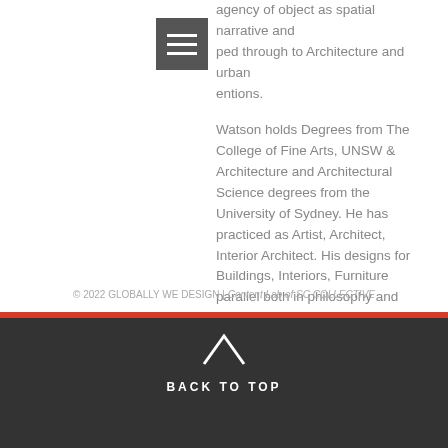[Figure (other): Hamburger menu icon: dark gray square with three white horizontal lines]
agency of object as spatial narrative and ped through to Architecture and urban entions.
Watson holds Degrees from The College of Fine Arts, UNSW & Architecture and Architectural Science degrees from the University of Sydney. He has practiced as Artist, Architect, Interior Architect. His designs for Buildings, Interiors, Furniture parallel both in philosophy and form from many of his Objects exhibited and an artist.
2018 FORUM >>
2019 FORUM >>
PARTICIPANTS >>
BACK TO TOP
© 2022 GLOBALLY WE DESIGN | Content Lab of SC COLLECTIVE